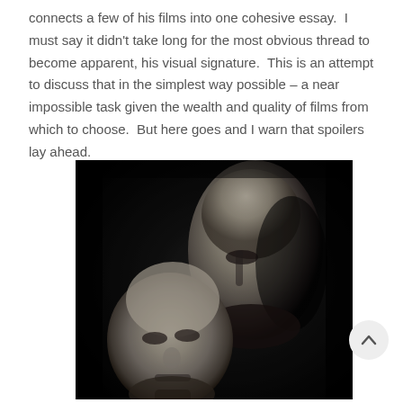connects a few of his films into one cohesive essay.  I must say it didn't take long for the most obvious thread to become apparent, his visual signature.  This is an attempt to discuss that in the simplest way possible – a near impossible task given the wealth and quality of films from which to choose.  But here goes and I warn that spoilers lay ahead.
[Figure (photo): Black and white photograph showing two views of a bald man's face – one facing forward in the lower left, and one in profile/side view in the upper right – against a very dark/black background.]